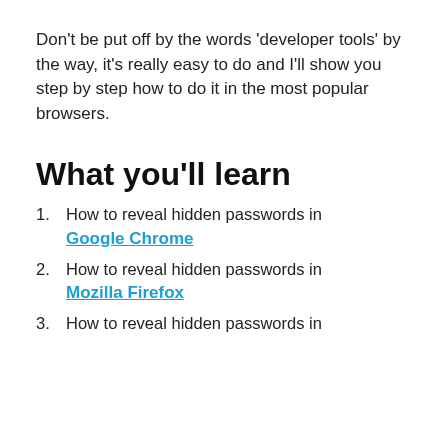Don't be put off by the words 'developer tools' by the way, it's really easy to do and I'll show you step by step how to do it in the most popular browsers.
What you'll learn
How to reveal hidden passwords in Google Chrome
How to reveal hidden passwords in Mozilla Firefox
How to reveal hidden passwords in